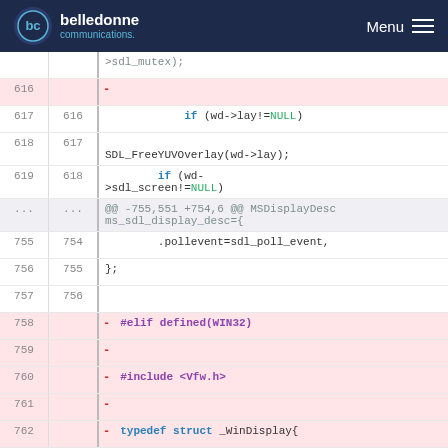belledonne communications — Menu
Code diff view showing lines 616-766 of a C source file with SDL and Windows display code. Deleted lines (pink background) include #elif defined(WIN32), #include <Vfw.h>, typedef struct _WinDisplay{ with MSFilter *filter, HWND window, HDRAWDIB ddh, MSPicture fb members.